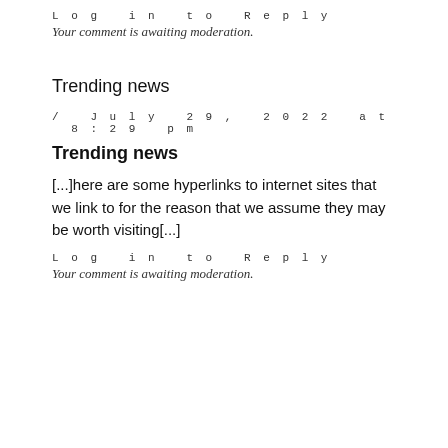Log in to Reply
Your comment is awaiting moderation.
Trending news
/ July 29, 2022 at 8:29 pm
Trending news
[...]here are some hyperlinks to internet sites that we link to for the reason that we assume they may be worth visiting[...]
Log in to Reply
Your comment is awaiting moderation.